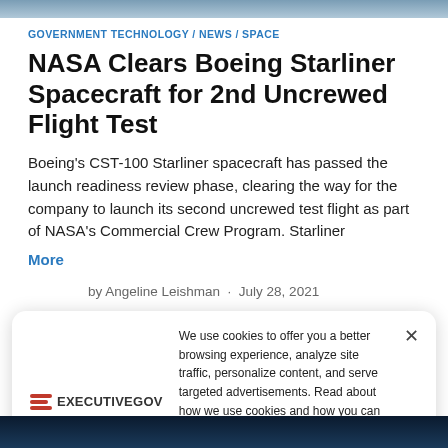[Figure (photo): Top banner image of space/spacecraft scene]
GOVERNMENT TECHNOLOGY / NEWS / SPACE
NASA Clears Boeing Starliner Spacecraft for 2nd Uncrewed Flight Test
Boeing's CST-100 Starliner spacecraft has passed the launch readiness review phase, clearing the way for the company to launch its second uncrewed test flight as part of NASA's Commercial Crew Program. Starliner
More
by Angeline Leishman · July 28, 2021
We use cookies to offer you a better browsing experience, analyze site traffic, personalize content, and serve targeted advertisements. Read about how we use cookies and how you can control them on our Privacy Policy. If you continue to use this site, you consent to our use of cookies.
[Figure (photo): Bottom image of Earth from space / spacecraft]